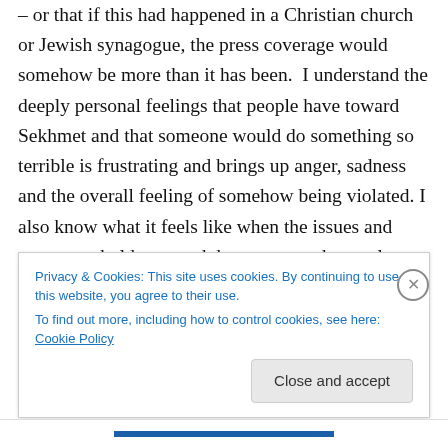– or that if this had happened in a Christian church or Jewish synagogue, the press coverage would somehow be more than it has been.  I understand the deeply personal feelings that people have toward Sekhmet and that someone would do something so terrible is frustrating and brings up anger, sadness and the overall feeling of somehow being violated. I also know what it feels like when the issues and events we hold near and dear are not adequately covered as we feel they ought to be.  I think anyone who is on the receiving end of being even in a
Privacy & Cookies: This site uses cookies. By continuing to use this website, you agree to their use.
To find out more, including how to control cookies, see here: Cookie Policy
Close and accept